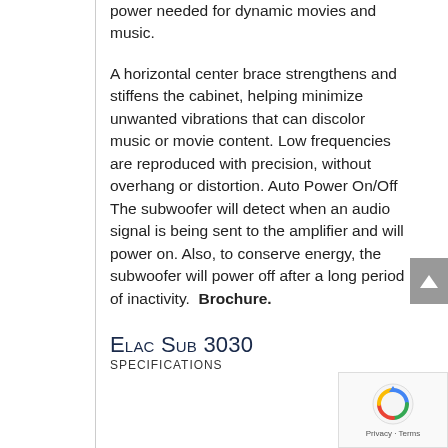power needed for dynamic movies and music.

A horizontal center brace strengthens and stiffens the cabinet, helping minimize unwanted vibrations that can discolor music or movie content. Low frequencies are reproduced with precision, without overhang or distortion. Auto Power On/Off The subwoofer will detect when an audio signal is being sent to the amplifier and will power on. Also, to conserve energy, the subwoofer will power off after a long period of inactivity. Brochure.
Elac Sub 3030
SPECIFICATIONS